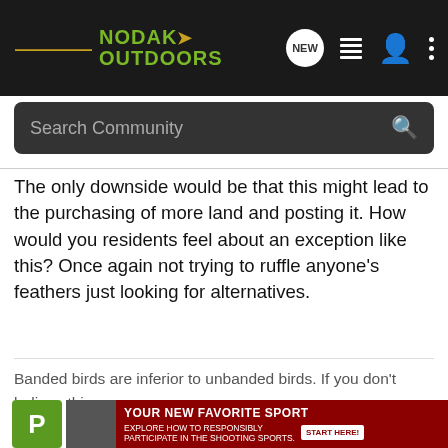Nodak Outdoors — navigation bar with logo, NEW, list, user, and menu icons
Search Community
The only downside would be that this might lead to the purchasing of more land and posting it. How would you residents feel about an exception like this? Once again not trying to ruffle anyone's feathers just looking for alternatives.
Banded birds are inferior to unbanded birds. If you don't believe this, then why were they dumb enough to be caught before being shot?
[Figure (screenshot): Advertisement banner: YOUR NEW FAVORITE SPORT — EXPLORE HOW TO RESPONSIBLY PARTICIPATE IN THE SHOOTING SPORTS. START HERE!]